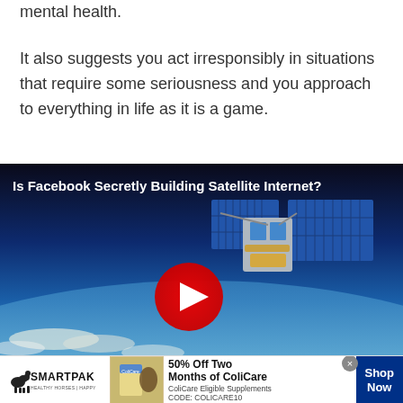mental health.
It also suggests you act irresponsibly in situations that require some seriousness and you approach to everything in life as it is a game.
[Figure (screenshot): Video thumbnail showing a satellite in orbit above Earth with text 'Is Facebook Secretly Building Satellite Internet?' and a red play button overlay]
[Figure (other): Advertisement for SmartPak: '50% Off Two Months of ColiCare, ColiCare Eligible Supplements CODE: COLICARE10' with Shop Now button]